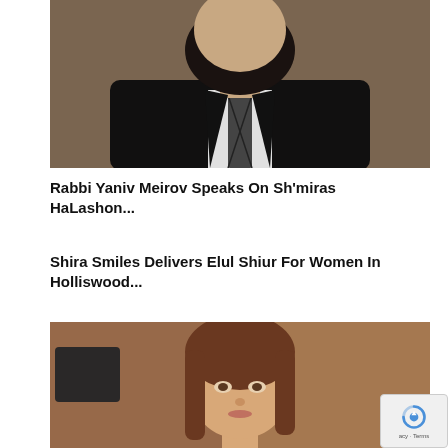[Figure (photo): Photo of a bearded man wearing a dark suit jacket, white shirt, and checkered tie, seated in front of a decorative wooden background.]
Rabbi Yaniv Meirov Speaks On Sh'miras HaLashon...
Shira Smiles Delivers Elul Shiur For Women In Holliswood...
[Figure (photo): Photo of a woman with long brown hair, in front of a warm wooden background.]